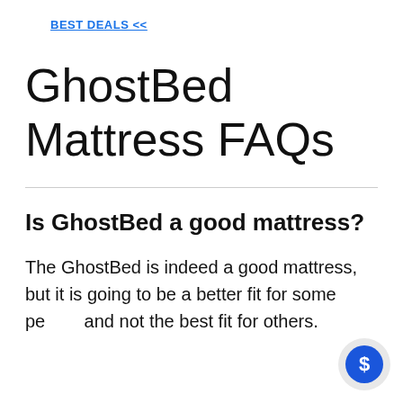BEST DEALS <<
GhostBed Mattress FAQs
Is GhostBed a good mattress?
The GhostBed is indeed a good mattress, but it is going to be a better fit for some people and not the best fit for others.